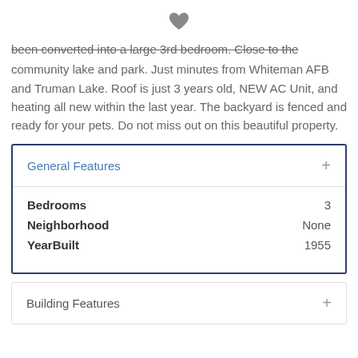[Figure (illustration): Heart/favorite icon]
been converted into a large 3rd bedroom. Close to the community lake and park. Just minutes from Whiteman AFB and Truman Lake. Roof is just 3 years old, NEW AC Unit, and heating all new within the last year. The backyard is fenced and ready for your pets. Do not miss out on this beautiful property.
General Features
| Feature | Value |
| --- | --- |
| Bedrooms | 3 |
| Neighborhood | None |
| YearBuilt | 1955 |
Building Features